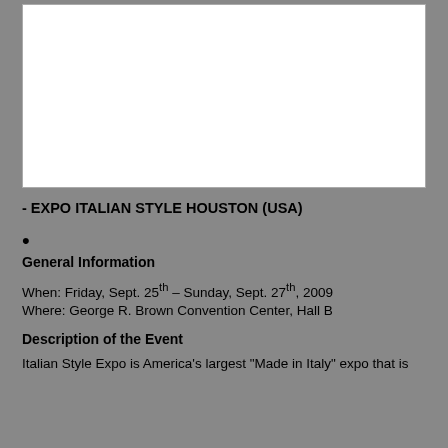[Figure (photo): Large blank/white image placeholder box at top of page]
- EXPO ITALIAN STYLE HOUSTON (USA)
•
General Information
When: Friday, Sept. 25th – Sunday, Sept. 27th, 2009
Where: George R. Brown Convention Center, Hall B
Description of the Event
Italian Style Expo is America's largest "Made in Italy" expo that is